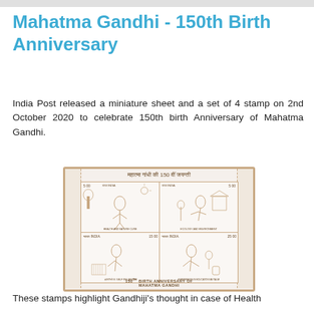Mahatma Gandhi - 150th Birth Anniversary
India Post released a miniature sheet and a set of 4 stamp on 2nd October 2020 to celebrate 150th birth Anniversary of Mahatma Gandhi.
[Figure (illustration): Miniature stamp sheet showing 4 Indian postage stamps for 150th Birth Anniversary of Mahatma Gandhi. Stamps depict: Health and Nature Cure (500), Ecology and Environment (500), Self Reliance (1500), Experiments in Education Naytalim (2500). Sheet header in Hindi: महात्मा गांधी की 150 वीं जयन्ती. Footer: 150th Birth Anniversary Of Mahatma Gandhi.]
These stamps highlight Gandhiji's thought in case of Health